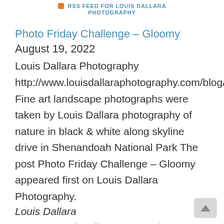RSS FEED FOR LOUIS DALLARA PHOTOGRAPHY
Photo Friday Challenge – Gloomy August 19, 2022
Louis Dallara Photography http://www.louisdallaraphotography.com/blog/ Fine art landscape photographs were taken by Louis Dallara photography of nature in black & white along skyline drive in Shenandoah National Park The post Photo Friday Challenge – Gloomy appeared first on Louis Dallara Photography.
Louis Dallara
Coast Guard Helicopter Practice Search and Rescue August 13, 2022